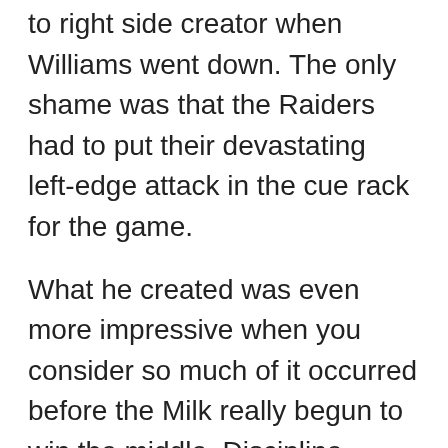to right side creator when Williams went down. The only shame was that the Raiders had to put their devastating left-edge attack in the cue rack for the game.
What he created was even more impressive when you consider so much of it occurred before the Milk really begun to win the middle. Discipline, defence and position shuffling made the big men's jobs harder, and it took some time for the Canberra to consistently win the middle. The Raiders were outgained by 100 metres in the first half. Over the second forty they gradually gained control, and Tapine, Ryan